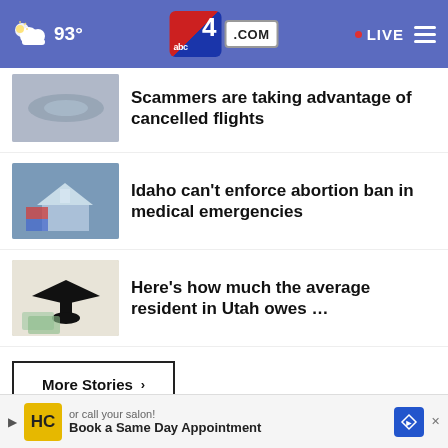93° LIVE abc4.com
Scammers are taking advantage of cancelled flights
Idaho can't enforce abortion ban in medical emergencies
Here's how much the average resident in Utah owes …
More Stories ›
[Figure (screenshot): Ad banner: Thousands of teens / to share their firsts with you.]
or call your salon!  Book a Same Day Appointment